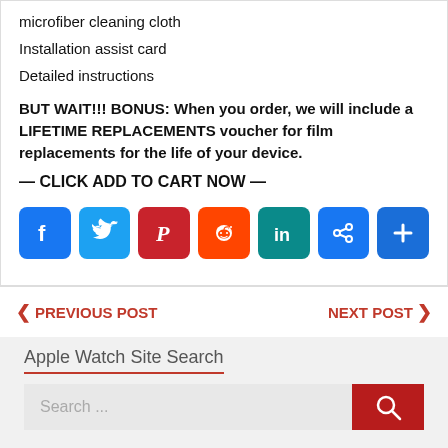microfiber cleaning cloth
Installation assist card
Detailed instructions
BUT WAIT!!! BONUS: When you order, we will include a LIFETIME REPLACEMENTS voucher for film replacements for the life of your device.
— CLICK ADD TO CART NOW —
[Figure (infographic): Social sharing icons row: Facebook (blue), Twitter (light blue), Pinterest (dark red), Reddit (orange), LinkedIn (teal), link/share (blue), add/plus (blue)]
PREVIOUS POST
NEXT POST
Apple Watch Site Search
Search ...